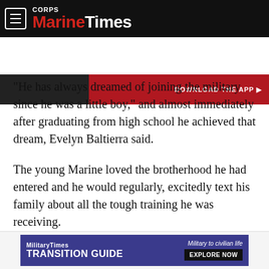Marine Corps Times
[Figure (screenshot): Top advertisement banner with red background and partial text visible]
“He has always dreamed of joining the military since he was a little boy,” and almost immediately after graduating from high school he achieved that dream, Evelyn Baltierra said.
The young Marine loved the brotherhood he had entered and he would regularly, excitedly text his family about all the tough training he was receiving.
“My heart is breaking that I won’t be able to get his texts and the photos he sends us ever again,” Evelyn Baltierra said.
[Figure (screenshot): MilitaryTimes Transition Guide advertisement banner with purple background and Explore Now button]